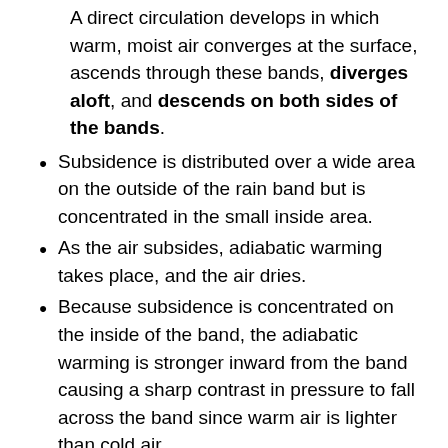A direct circulation develops in which warm, moist air converges at the surface, ascends through these bands, diverges aloft, and descends on both sides of the bands.
Subsidence is distributed over a wide area on the outside of the rain band but is concentrated in the small inside area.
As the air subsides, adiabatic warming takes place, and the air dries.
Because subsidence is concentrated on the inside of the band, the adiabatic warming is stronger inward from the band causing a sharp contrast in pressure to fall across the band since warm air is lighter than cold air.
Because the pressure falls on the inside, the tangential winds around the tropical cyclone increase due to the increased pressure gradient. Eventually, the band moves toward